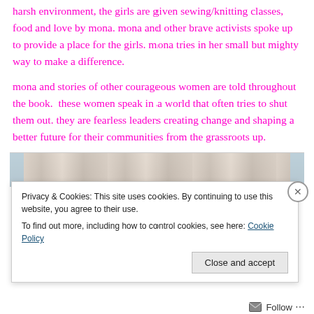harsh environment, the girls are given sewing/knitting classes, food and love by mona. mona and other brave activists spoke up to provide a place for the girls. mona tries in her small but mighty way to make a difference.
mona and stories of other courageous women are told throughout the book.  these women speak in a world that often tries to shut them out. they are fearless leaders creating change and shaping a better future for their communities from the grassroots up.
[Figure (photo): Partial view of a photo showing what appears to be fabric or textile items in muted tones, partially obscured by the cookie consent banner.]
Privacy & Cookies: This site uses cookies. By continuing to use this website, you agree to their use.
To find out more, including how to control cookies, see here: Cookie Policy
Close and accept
Follow